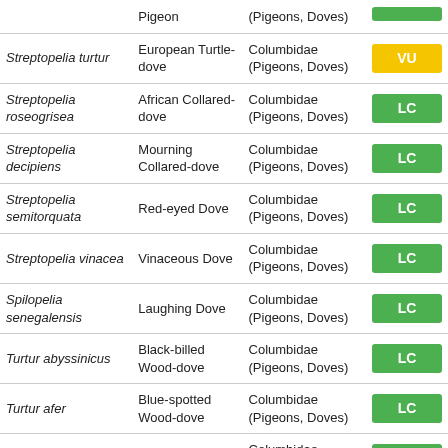| Scientific name | Common name | Family | Status |
| --- | --- | --- | --- |
| (Pigeon) | (Pigeons, Doves) |  | LC (partial) |
| Streptopelia turtur | European Turtle-dove | Columbidae (Pigeons, Doves) | VU |
| Streptopelia roseogrisea | African Collared-dove | Columbidae (Pigeons, Doves) | LC |
| Streptopelia decipiens | Mourning Collared-dove | Columbidae (Pigeons, Doves) | LC |
| Streptopelia semitorquata | Red-eyed Dove | Columbidae (Pigeons, Doves) | LC |
| Streptopelia vinacea | Vinaceous Dove | Columbidae (Pigeons, Doves) | LC |
| Spilopelia senegalensis | Laughing Dove | Columbidae (Pigeons, Doves) | LC |
| Turtur abyssinicus | Black-billed Wood-dove | Columbidae (Pigeons, Doves) | LC |
| Turtur afer | Blue-spotted Wood-dove | Columbidae (Pigeons, Doves) | LC |
| Oena capensis | Namaqua Dove | Columbidae (Pigeons, Doves) | LC |